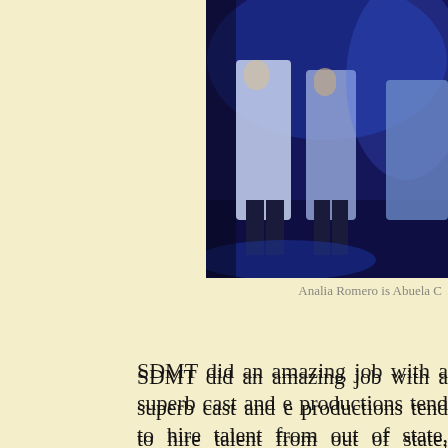[Figure (photo): Stage photo with figures in blue lighting, likely performers in costume on a dark stage]
Analia Romero is Abuela C
SDMT did an amazing job with a superb cast and e productions tend to hire talent from out of state, usually great aspect of this production is that they are focusing that we have not seen that often on stage or ever befor You Can, the impressive work done regarding the stage Mathys Herbert's set design had everything finely set exes featured in all of Lin Manuel Miranda's musica choreography to replicate and she did it marvelously an